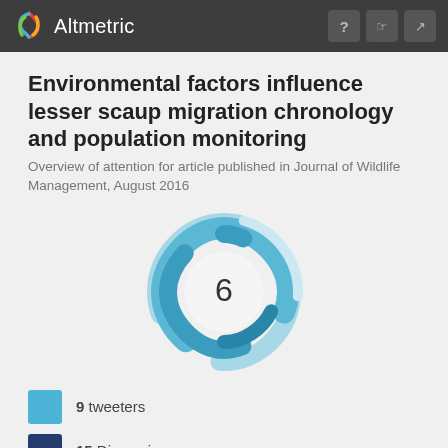Altmetric
Environmental factors influence lesser scaup migration chronology and population monitoring
Overview of attention for article published in Journal of Wildlife Management, August 2016
[Figure (other): Altmetric donut score badge showing score of 6, rendered as a swirling blue donut chart]
9 tweeters
15 Dimensions